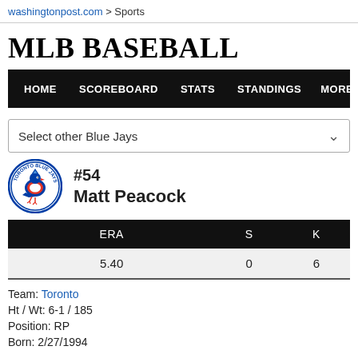washingtonpost.com > Sports
MLB BASEBALL
HOME  SCOREBOARD  STATS  STANDINGS  MORE...
Select other Blue Jays
#54 Matt Peacock
| ERA | S | K |
| --- | --- | --- |
| 5.40 | 0 | 6 |
Team: Toronto
Ht / Wt: 6-1 / 185
Position: RP
Born: 2/27/1994